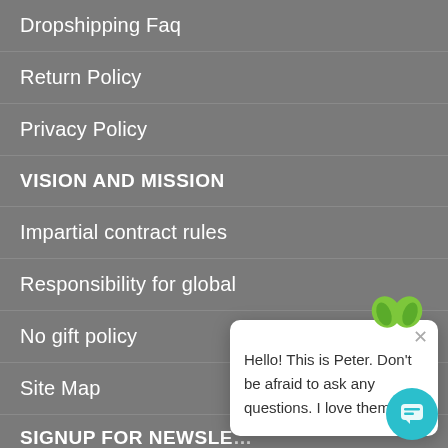Dropshipping Faq
Return Policy
Privacy Policy
VISION AND MISSION
Impartial contract rules
Responsibility for global
No gift policy
Site Map
SIGNUP FOR NEWSLE…
Subscribe to be the first to know about AMAZING new arrivals, sales and more!
[Figure (screenshot): Chat popup widget with green leaf logo avatar, close button (×), message text 'Hello! This is Peter. Don't be afraid to ask any questions. I love them!', and a teal circular chat icon in the bottom right corner.]